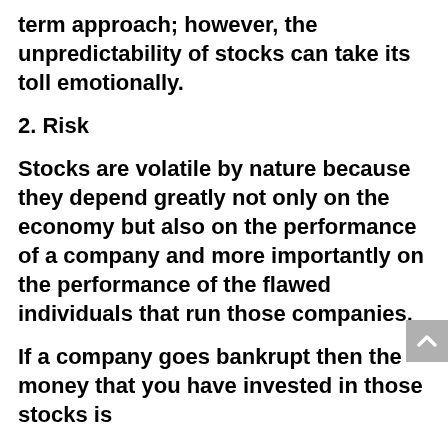term approach; however, the unpredictability of stocks can take its toll emotionally.
2. Risk
Stocks are volatile by nature because they depend greatly not only on the economy but also on the performance of a company and more importantly on the performance of the flawed individuals that run those companies.
If a company goes bankrupt then the money that you have invested in those stocks is